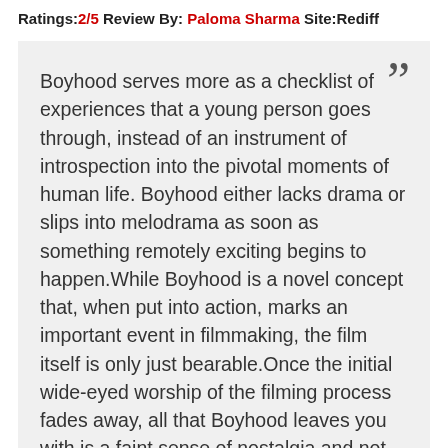Ratings:2/5 Review By: Paloma Sharma Site:Rediff
Boyhood serves more as a checklist of experiences that a young person goes through, instead of an instrument of introspection into the pivotal moments of human life. Boyhood either lacks drama or slips into melodrama as soon as something remotely exciting begins to happen.While Boyhood is a novel concept that, when put into action, marks an important event in filmmaking, the film itself is only just bearable.Once the initial wide-eyed worship of the filming process fades away, all that Boyhood leaves you with is a faint sense of nostalgia and not much else.